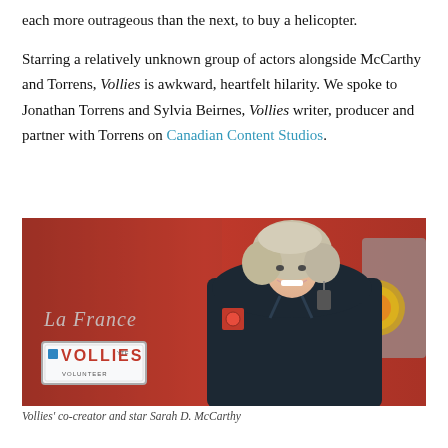each more outrageous than the next, to buy a helicopter.

Starring a relatively unknown group of actors alongside McCarthy and Torrens, Vollies is awkward, heartfelt hilarity. We spoke to Jonathan Torrens and Sylvia Beirnes, Vollies writer, producer and partner with Torrens on Canadian Content Studios.
[Figure (photo): A smiling woman with curly grey-blonde hair wearing a dark navy firefighter/volunteer uniform with patches, standing in front of a red La France fire truck. A license plate on the truck reads 'VOLLIES VOLUNTEER'.]
Vollies' co-creator and star Sarah D. McCarthy